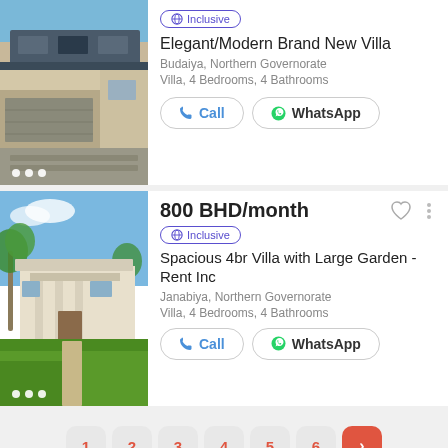[Figure (photo): Modern two-story villa with concrete and glass facade, garage, paved driveway]
Inclusive
Elegant/Modern Brand New Villa
Budaiya, Northern Governorate
Villa, 4 Bedrooms, 4 Bathrooms
800 BHD/month
Inclusive
Spacious 4br Villa with Large Garden - Rent Inc
Janabiya, Northern Governorate
Villa, 4 Bedrooms, 4 Bathrooms
[Figure (photo): Classic white villa with palm trees, large garden, and lush green lawn in foreground]